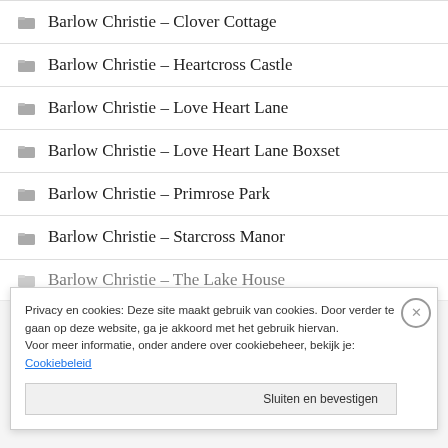Barlow Christie – Clover Cottage
Barlow Christie – Heartcross Castle
Barlow Christie – Love Heart Lane
Barlow Christie – Love Heart Lane Boxset
Barlow Christie – Primrose Park
Barlow Christie – Starcross Manor
Barlow Christie – The Lake House
Privacy en cookies: Deze site maakt gebruik van cookies. Door verder te gaan op deze website, ga je akkoord met het gebruik hiervan. Voor meer informatie, onder andere over cookiebeheer, bekijk je: Cookiebeleid
Sluiten en bevestigen